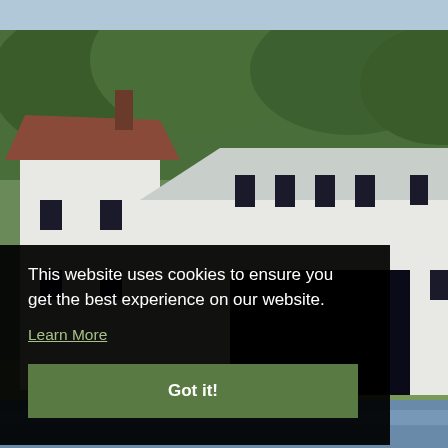[Figure (photo): Photograph of white historic mill buildings with a large barn-like structure in the center, surrounded by green trees and a grassy lawn, with water visible at the bottom. A dark background overlays the lower portion.]
This website uses cookies to ensure you get the best experience on our website.
Learn More
Got it!